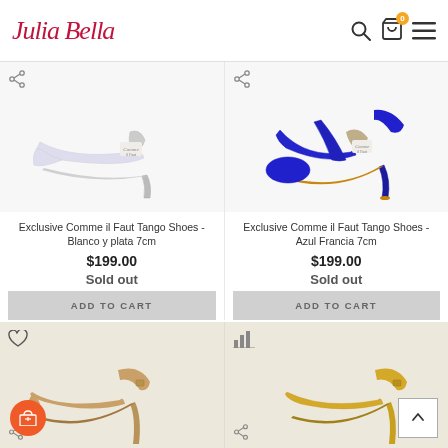Julia Bella - navigation header with logo, search, cart, and menu icons
[Figure (photo): White/silver open-toe tango heel shoe on white background]
[Figure (photo): Royal blue suede open-toe tango heel shoe on white background]
Exclusive Comme il Faut Tango Shoes - Blanco y plata 7cm
$199.00
Sold out
ADD TO CART
Exclusive Comme il Faut Tango Shoes - Azul Francia 7cm
$199.00
Sold out
ADD TO CART
[Figure (photo): Tan/gold strappy tango shoe (bottom left product)]
[Figure (photo): Gold glitter strappy tango shoe (bottom right product)]